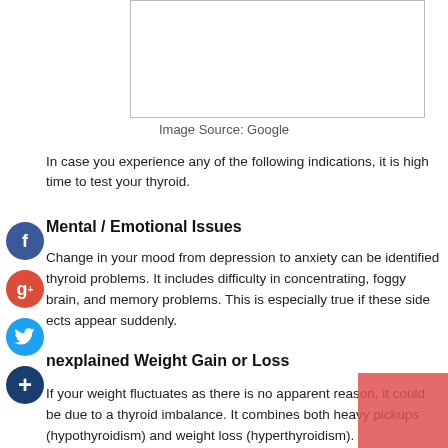[Figure (photo): Image placeholder box (blank white rectangle with border)]
Image Source: Google
In case you experience any of the following indications, it is high time to test your thyroid.
Mental / Emotional Issues
Change in your mood from depression to anxiety can be identified thyroid problems. It includes difficulty in concentrating, foggy brain, and memory problems. This is especially true if these side ects appear suddenly.
nexplained Weight Gain or Loss
If your weight fluctuates as there is no apparent reason, it could be due to a thyroid imbalance. It combines both heavy pickups (hypothyroidism) and weight loss (hyperthyroidism).